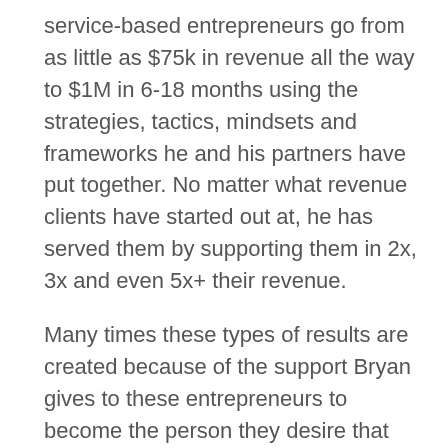service-based entrepreneurs go from as little as $75k in revenue all the way to $1M in 6-18 months using the strategies, tactics, mindsets and frameworks he and his partners have put together. No matter what revenue clients have started out at, he has served them by supporting them in 2x, 3x and even 5x+ their revenue.
Many times these types of results are created because of the support Bryan gives to these entrepreneurs to become the person they desire that creates these types of results. So, he believes that it's not only the skill and systems that help people, it's also the personal growth and transformation that people make while working with him that supports this type of results.
He focuses his time outside of work with his wife and